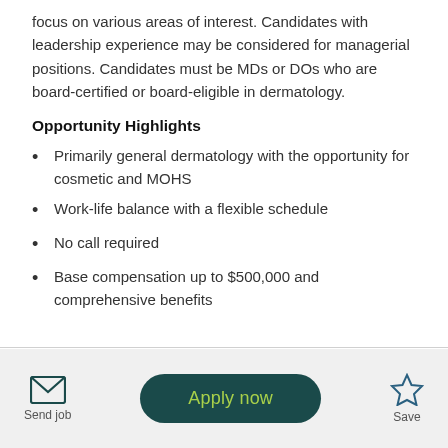focus on various areas of interest. Candidates with leadership experience may be considered for managerial positions. Candidates must be MDs or DOs who are board-certified or board-eligible in dermatology.
Opportunity Highlights
Primarily general dermatology with the opportunity for cosmetic and MOHS
Work-life balance with a flexible schedule
No call required
Base compensation up to $500,000 and comprehensive benefits
Send job | Apply now | Save